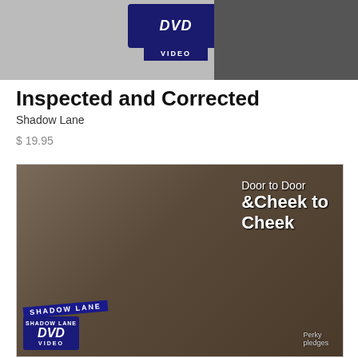[Figure (photo): Top portion of a DVD product image showing partial logo with VIDEO text]
Inspected and Corrected
Shadow Lane
$ 19.95
[Figure (photo): DVD cover art for 'Door to Door & Cheek to Cheek' by Shadow Lane, showing two women. Text overlays: 'Door to Door & Cheek to Cheek', 'SHADOW LANE', 'DVD VIDEO', 'Perky pledges']